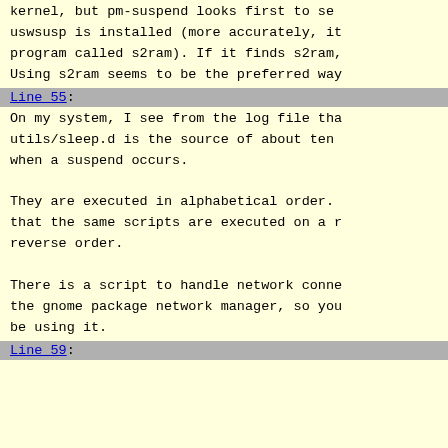kernel, but pm-suspend looks first to see if uswsusp is installed (more accurately, it program called s2ram). If it finds s2ram, Using s2ram seems to be the preferred way
Line 55:
On my system, I see from the log file that utils/sleep.d is the source of about ten when a suspend occurs.
They are executed in alphabetical order. that the same scripts are executed on a reverse order.
There is a script to handle network connections the gnome package network manager, so you be using it.
Line 59: